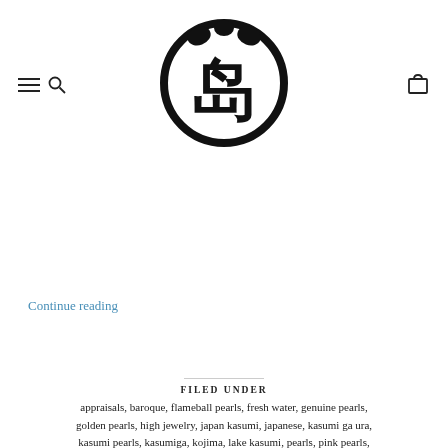[Figure (logo): Japanese seal/stamp style circular logo with kanji characters in black]
Continue reading
FILED UNDER
appraisals, baroque, flameball pearls, fresh water, genuine pearls, golden pearls, high jewelry, japan kasumi, japanese, kasumi ga ura, kasumi pearls, kasumiga, kojima, lake kasumi, pearls, pink pearls,